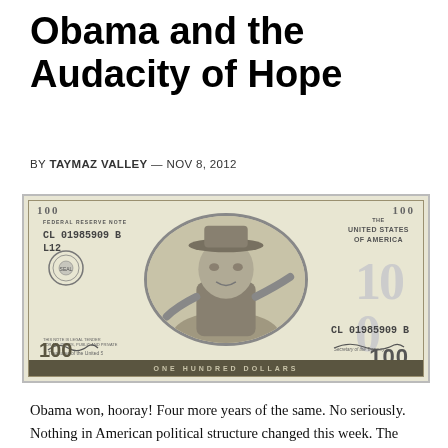Obama and the Audacity of Hope
BY TAYMAZ VALLEY — NOV 8, 2012
[Figure (illustration): A novelty/parody $100 bill featuring a person in a hat in the oval portrait area, serial number CL 01985909 B L12, text reading FEDERAL RESERVE NOTE, THE UNITED STATES OF AMERICA, ONE HUNDRED DOLLARS, and large 100 numerals.]
Obama won, hooray! Four more years of the same. No seriously. Nothing in American political structure changed this week. The